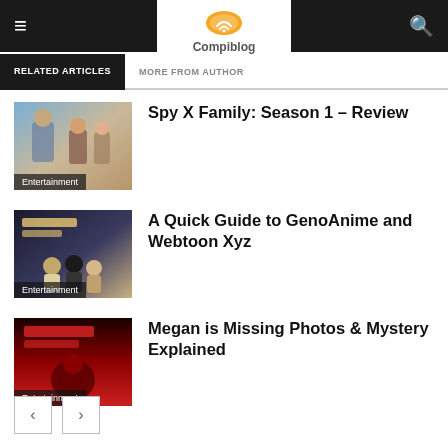Compiblog
RELATED ARTICLES | MORE FROM AUTHOR
[Figure (illustration): Thumbnail for Spy X Family Season 1 article, showing anime characters with Entertainment label]
Spy X Family: Season 1 – Review
[Figure (illustration): Thumbnail for GenoAnime and Webtoon Xyz article with Entertainment label]
A Quick Guide to GenoAnime and Webtoon Xyz
[Figure (illustration): Thumbnail for Megan is Missing article with dark red movie poster, Entertainment label]
Megan is Missing Photos & Mystery Explained